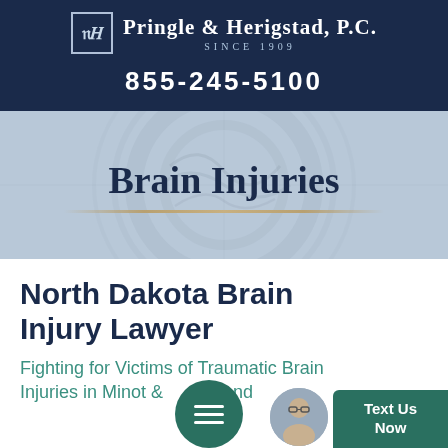Pringle & Herigstad, P.C. Since 1909
855-245-5100
Brain Injuries
North Dakota Brain Injury Lawyer
Fighting for Victims of Traumatic Brain Injuries in Minot & Beyond